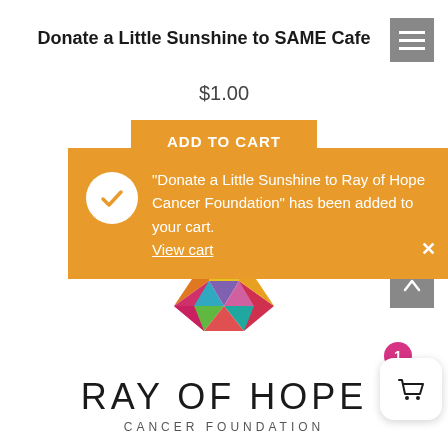Donate a Little Sunshine to SAME Cafe
$1.00
ADD TO CART
"Donate a Little Sunshine to Ray of Hope Cancer Foundation" has been added to your cart. View cart
[Figure (logo): Ray of Hope Cancer Foundation logo: colorful geometric star shape above the text RAY OF HOPE CANCER FOUNDATION]
[Figure (screenshot): Shopping cart icon in white rounded square with pink badge showing count 1]